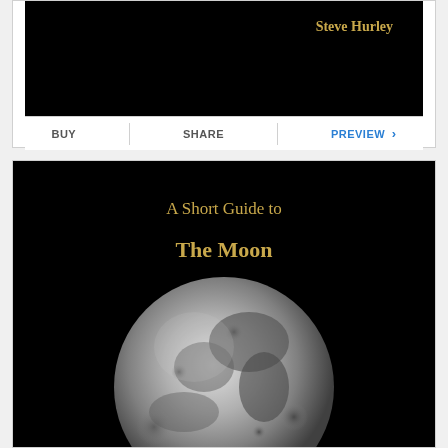[Figure (illustration): Top portion of book cover with black background showing author name 'Steve Hurley' in golden/tan serif text on the right side]
BUY    SHARE    PREVIEW >
[Figure (illustration): Book cover with black background, golden text reading 'A Short Guide to The Moon', with a large grayscale photograph of the full moon in the lower portion of the cover]